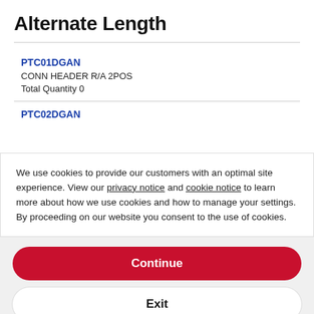Alternate Length
PTC01DGAN
CONN HEADER R/A 2POS
Total Quantity 0
PTC02DGAN
We use cookies to provide our customers with an optimal site experience. View our privacy notice and cookie notice to learn more about how we use cookies and how to manage your settings. By proceeding on our website you consent to the use of cookies.
Continue
Exit
Privacy Notice